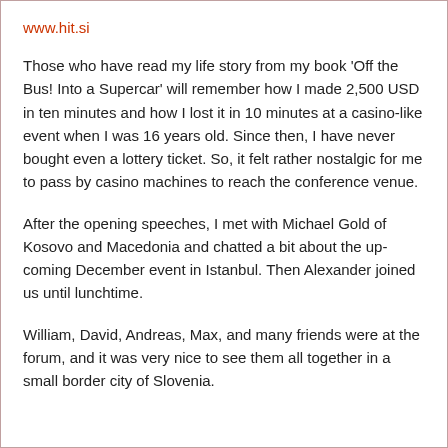www.hit.si
Those who have read my life story from my book 'Off the Bus! Into a Supercar' will remember how I made 2,500 USD in ten minutes and how I lost it in 10 minutes at a casino-like event when I was 16 years old. Since then, I have never bought even a lottery ticket. So, it felt rather nostalgic for me to pass by casino machines to reach the conference venue.
After the opening speeches, I met with Michael Gold of Kosovo and Macedonia and chatted a bit about the up-coming December event in Istanbul. Then Alexander joined us until lunchtime.
William, David, Andreas, Max, and many friends were at the forum, and it was very nice to see them all together in a small border city of Slovenia.